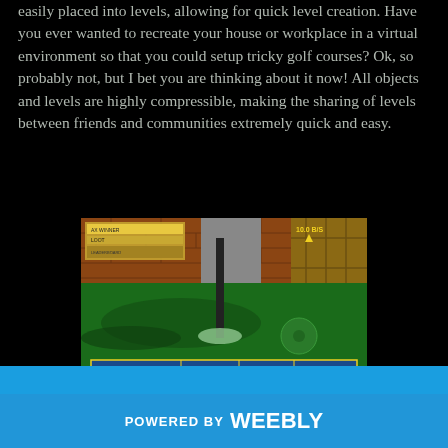easily placed into levels, allowing for quick level creation. Have you ever wanted to recreate your house or workplace in a virtual environment so that you could setup tricky golf courses? Ok, so probably not, but I bet you are thinking about it now! All objects and levels are highly compressible, making the sharing of levels between friends and communities extremely quick and easy.
[Figure (screenshot): Screenshot of a miniature golf video game showing a green course with a flag hole, dark ground shadows, brick wall background, a wooden fence, game UI with score panel in upper left and a bottom navigation bar. Yellow arrow and '10.0 B/S' text visible in upper right.]
POWERED BY weebly